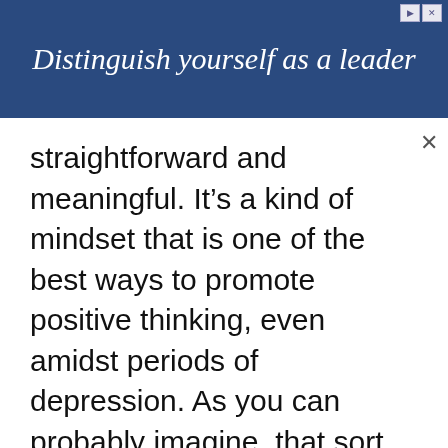[Figure (other): Advertisement banner with dark blue background and white italic serif text reading 'Distinguish yourself as a leader']
straightforward and meaningful. It’s a kind of mindset that is one of the best ways to promote positive thinking, even amidst periods of depression. As you can probably imagine, that sort of thinking is sure to aid anxiety and regret.